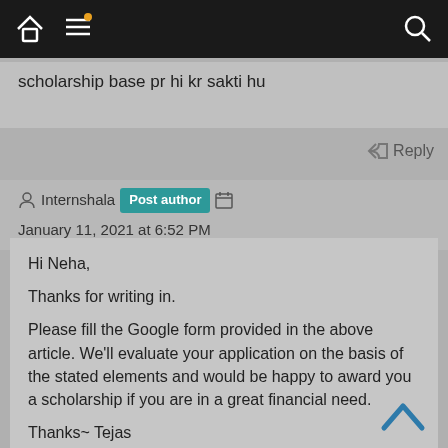navigation bar with home, menu, and search icons
scholarship base pr hi kr sakti hu
Reply
Internshala Post author January 11, 2021 at 6:52 PM
Hi Neha,

Thanks for writing in.

Please fill the Google form provided in the above article. We'll evaluate your application on the basis of the stated elements and would be happy to award you a scholarship if you are in a great financial need.

Thanks~ Tejas